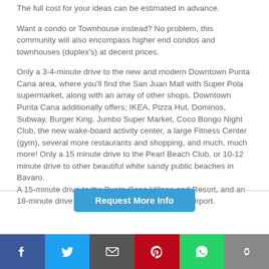The full cost for your ideas can be estimated in advance.
Want a condo or Townhouse instead? No problem, this community will also encompass higher end condos and townhouses (duplex's) at decent prices.
Only a 3-4-minute drive to the new and modern Downtown Punta Cana area, where you'll find the San Juan Mall with Super Pola supermarket, along with an array of other shops. Downtown Punta Cana additionally offers; IKEA, Pizza Hut, Dominos, Subway, Burger King, Jumbo Super Market, Coco Bongo Night Club, the new wake-board activity center, a large Fitness Center (gym), several more restaurants and shopping, and much, much more! Only a 15 minute drive to the Pearl Beach Club, or 10-12 minute drive to other beautiful white sandy public beaches in Bavaro.
A 15-minute drive to the Punta Cana Village and Resort, and an 18-minute drive to the Punta Cana International Airport.